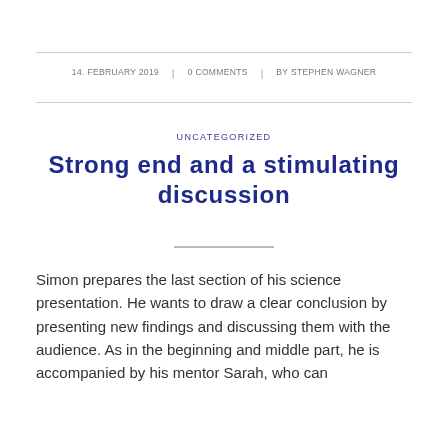14. FEBRUARY 2019 | 0 COMMENTS | BY STEPHEN WAGNER
UNCATEGORIZED
Strong end and a stimulating discussion
Simon prepares the last section of his science presentation. He wants to draw a clear conclusion by presenting new findings and discussing them with the audience. As in the beginning and middle part, he is accompanied by his mentor Sarah, who can